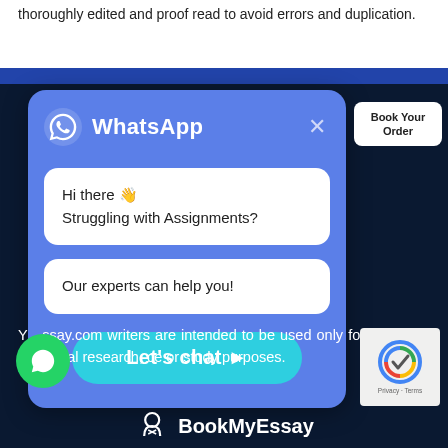thoroughly edited and proof read to avoid errors and duplication.
[Figure (screenshot): WhatsApp chat popup overlay with header showing WhatsApp logo and title, two white message bubbles reading 'Hi there 👋 Struggling with Assignments?' and 'Our experts can help you!', and a teal 'Let's chat ➤' button]
Y...ssay.com writers are intended to be used only for further individual research, ce or study purposes.
[Figure (logo): BookMyEssay logo with icon and text at bottom of page]